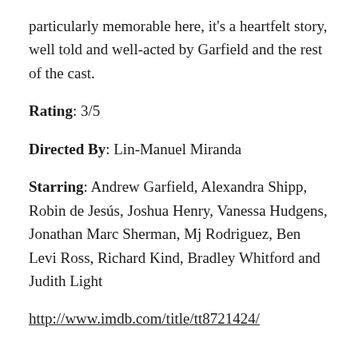particularly memorable here, it's a heartfelt story, well told and well-acted by Garfield and the rest of the cast.
Rating: 3/5
Directed By: Lin-Manuel Miranda
Starring: Andrew Garfield, Alexandra Shipp, Robin de Jesús, Joshua Henry, Vanessa Hudgens, Jonathan Marc Sherman, Mj Rodriguez, Ben Levi Ross, Richard Kind, Bradley Whitford and Judith Light
http://www.imdb.com/title/tt8721424/